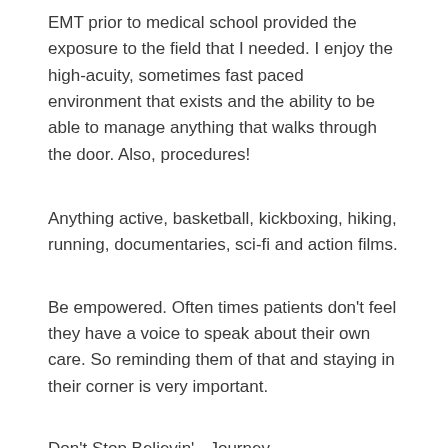EMT prior to medical school provided the exposure to the field that I needed. I enjoy the high-acuity, sometimes fast paced environment that exists and the ability to be able to manage anything that walks through the door. Also, procedures!
Anything active, basketball, kickboxing, hiking, running, documentaries, sci-fi and action films.
Be empowered. Often times patients don't feel they have a voice to speak about their own care. So reminding them of that and staying in their corner is very important.
Don't Stop Believin' - Journey